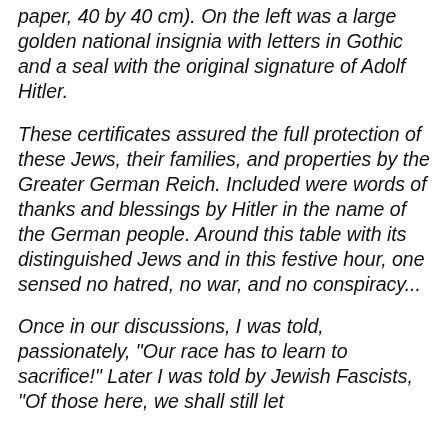paper, 40 by 40 cm). On the left was a large golden national insignia with letters in Gothic and a seal with the original signature of Adolf Hitler.
These certificates assured the full protection of these Jews, their families, and properties by the Greater German Reich. Included were words of thanks and blessings by Hitler in the name of the German people. Around this table with its distinguished Jews and in this festive hour, one sensed no hatred, no war, and no conspiracy...
Once in our discussions, I was told, passionately, "Our race has to learn to sacrifice!" Later I was told by Jewish Fascists, "Of those here, we shall still let...